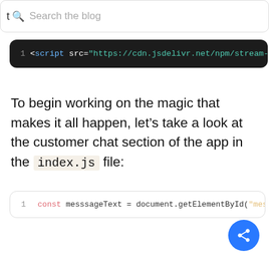t  Search the blog
[Figure (screenshot): Dark code block showing: 1  <script src="https://cdn.jsdelivr.net/npm/stream-]
To begin working on the magic that makes it all happen, let's take a look at the customer chat section of the app in the index.js file:
[Figure (screenshot): Code block showing JavaScript: 1 const messsageText = document.getElementById("mess... 2 const apiKey = "" 3 const client = new StreamChat(apiKey); 4  5 const init = (url, username)=>{ 6      fetch(url,{ 7          headers: { 8              'Content-Type': 'application/json']